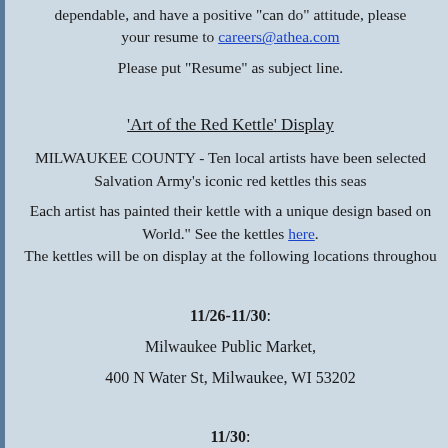dependable, and have a positive "can do" attitude, please send your resume to careers@athea.com
Please put "Resume" as subject line.
'Art of the Red Kettle' Display
MILWAUKEE COUNTY - Ten local artists have been selected to decorate the Salvation Army's iconic red kettles this season.
Each artist has painted their kettle with a unique design based on the theme "Peace to the World." See the kettles here. The kettles will be on display at the following locations throughout the holiday season:
11/26-11/30:
Milwaukee Public Market,
400 N Water St, Milwaukee, WI 53202
11/30:
Christmas in the Ward, Third Ward